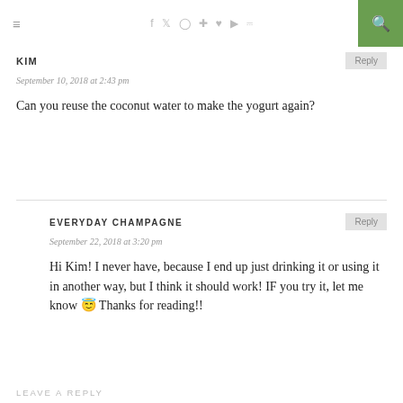≡  f  ✦  ◎  ◉  ♥  ▶  )))  🔍
KIM
September 10, 2018 at 2:43 pm
Can you reuse the coconut water to make the yogurt again?
EVERYDAY CHAMPAGNE
September 22, 2018 at 3:20 pm
Hi Kim! I never have, because I end up just drinking it or using it in another way, but I think it should work! IF you try it, let me know 😉 Thanks for reading!!
LEAVE A REPLY